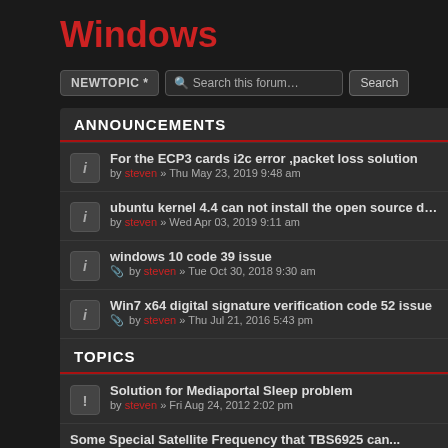Windows
ANNOUNCEMENTS
For the ECP3 cards i2c error ,packet loss solution by steven » Thu May 23, 2019 9:48 am
ubuntu kernel 4.4 can not install the open source driver by steven » Wed Apr 03, 2019 9:11 am
windows 10 code 39 issue by steven » Tue Oct 30, 2018 9:30 am
Win7 x64 digital signature verification code 52 issue by steven » Thu Jul 21, 2016 5:43 pm
How to report a problem with TBS Linux drivers by cody » Fri Nov 25, 2011 11:17 pm
TOPICS
Solution for Mediaportal Sleep problem by steven » Fri Aug 24, 2012 2:02 pm
Some Special Satellite Frequency that TBS6925 can...